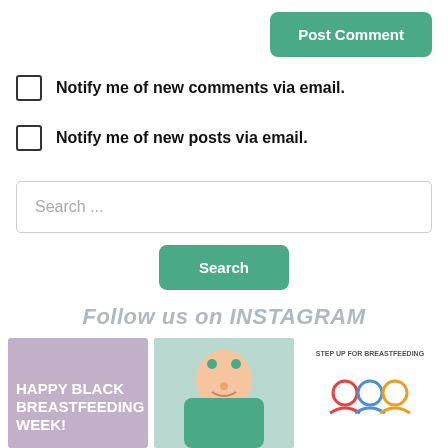Post Comment
Notify me of new comments via email.
Notify me of new posts via email.
Search ...
Search
Follow us on INSTAGRAM
[Figure (photo): Instagram post: purple background with text HAPPY BLACK BREASTFEEDING WEEK!]
[Figure (photo): Instagram post: photo of smiling baby in teal outfit]
[Figure (logo): Instagram post: Step Up for Breastfeeding logo with colorful figures]